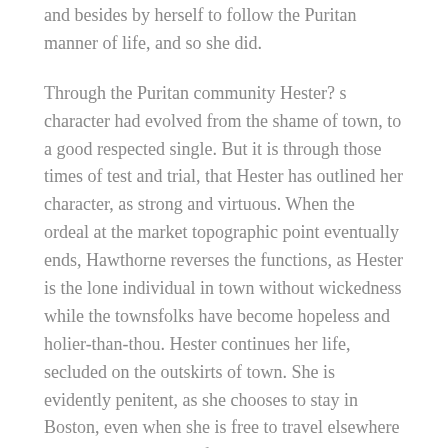and besides by herself to follow the Puritan manner of life, and so she did.
Through the Puritan community Hester? s character had evolved from the shame of town, to a good respected single. But it is through those times of test and trial, that Hester has outlined her character, as strong and virtuous. When the ordeal at the market topographic point eventually ends, Hawthorne reverses the functions, as Hester is the lone individual in town without wickedness while the townsfolks have become hopeless and holier-than-thou. Hester continues her life, secluded on the outskirts of town. She is evidently penitent, as she chooses to stay in Boston, even when she is free to travel elsewhere and get down a new life. ? Here? had been the scene of her guilt, and here should be the scene of her earthly penalty ; and so, perchance, the anguish of her day-to-day shame would at length purging her psyche, and work out another pureness than that which she had lost ; more saint-like because the consequence of martyrdom. ?